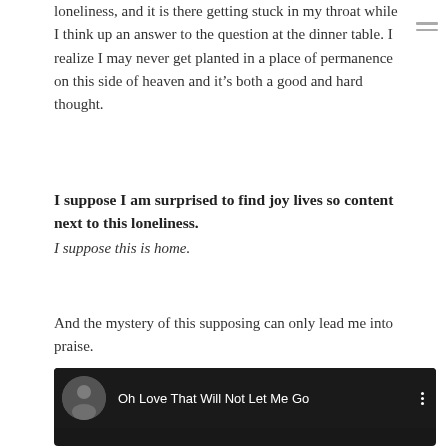loneliness, and it is there getting stuck in my throat while I think up an answer to the question at the dinner table. I realize I may never get planted in a place of permanence on this side of heaven and it's both a good and hard thought.
I suppose I am surprised to find joy lives so content next to this loneliness. I suppose this is home.
And the mystery of this supposing can only lead me into praise.
[Figure (screenshot): YouTube video embed with dark background showing 'Oh Love That Will Not Let Me Go' with a circular thumbnail image on the left, title text in white, and a three-dot menu icon on the right.]